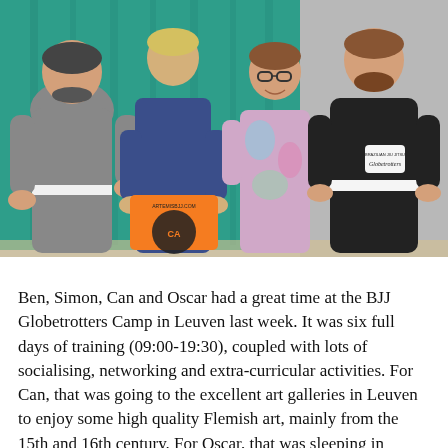[Figure (photo): Four men in Brazilian Jiu-Jitsu gis standing together for a photo. From left to right: a larger man in a grey gi with a white belt, a tall blonde man in a blue gi holding an orange Artemis BJJ t-shirt, a man with glasses in a colorful tie-dye gi, and a man in a black gi with a white belt. A Brazilian Jiu-Jitsu Globetrotters logo patch is visible on the black gi. They are standing in front of a teal/green curtain backdrop.]
Ben, Simon, Can and Oscar had a great time at the BJJ Globetrotters Camp in Leuven last week. It was six full days of training (09:00-19:30), coupled with lots of socialising, networking and extra-curricular activities. For Can, that was going to the excellent art galleries in Leuven to enjoy some high quality Flemish art, mainly from the 15th and 16th century. For Oscar, that was sleeping in bushes. To each their